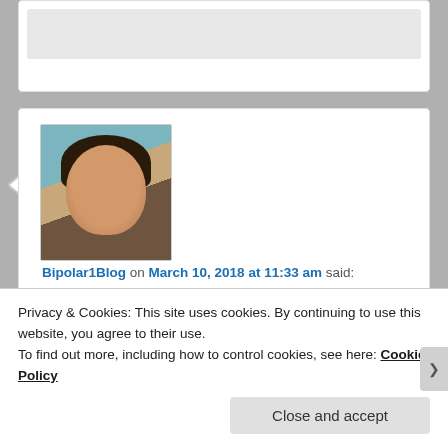[Figure (screenshot): Partial top of a previous comment box showing a grey placeholder image]
[Figure (photo): Profile photo of a woman with dark hair, wearing a brown top, against a teal/green background]
Bipolar1Blog on March 10, 2018 at 11:33 am said:
Dearest Dyane, hope you are feeling better and your jaw is healing! You did incredibly well, dealing with a pretty awful injury. I'd fallen on concrete and skinned the hell out of my knee about a year ago, still have a bad scar. Ugh I hate crooked sidewalks!
Privacy & Cookies: This site uses cookies. By continuing to use this website, you agree to their use.
To find out more, including how to control cookies, see here: Cookie Policy
Close and accept